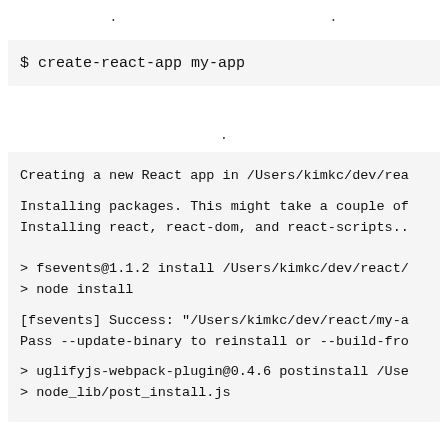. .
$ create-react-app my-app
.
Creating a new React app in /Users/kimkc/dev/rea

Installing packages. This might take a couple of
Installing react, react-dom, and react-scripts..


> fsevents@1.1.2 install /Users/kimkc/dev/react/
> node install

[fsevents] Success: "/Users/kimkc/dev/react/my-a
Pass --update-binary to reinstall or --build-fro

> uglifyjs-webpack-plugin@0.4.6 postinstall /Use
> node_lib/post_install.js